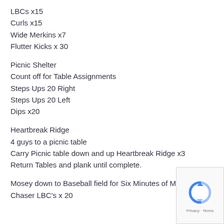LBCs x15
Curls x15
Wide Merkins x7
Flutter Kicks x 30
Picnic Shelter
Count off for Table Assignments
Steps Ups 20 Right
Steps Ups 20 Left
Dips x20
Heartbreak Ridge
4 guys to a picnic table
Carry Picnic table down and up Heartbreak Ridge x3
Return Tables and plank until complete.
Mosey down to Baseball field for Six Minutes of Mary
Chaser LBC's x 20